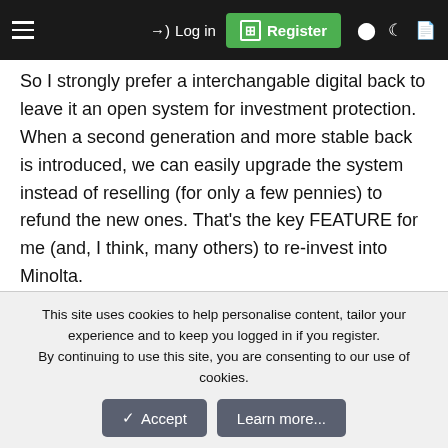Log in | Register
So I strongly prefer a interchangable digital back to leave it an open system for investment protection. When a second generation and more stable back is introduced, we can easily upgrade the system instead of reselling (for only a few pennies) to refund the new ones. That's the key FEATURE for me (and, I think, many others) to re-invest into Minolta.
Regards, David
hung
This site uses cookies to help personalise content, tailor your experience and to keep you logged in if you register.
By continuing to use this site, you are consenting to our use of cookies.